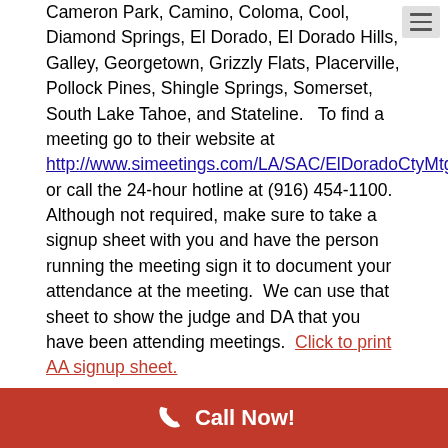Cameron Park, Camino, Coloma, Cool, Diamond Springs, El Dorado, El Dorado Hills, Galley, Georgetown, Grizzly Flats, Placerville, Pollock Pines, Shingle Springs, Somerset, South Lake Tahoe, and Stateline.   To find a meeting go to their website at http://www.simeetings.com/LA/SAC/ElDoradoCtyMtgs.html or call the 24-hour hotline at (916) 454-1100.  Although not required, make sure to take a signup sheet with you and have the person running the meeting sign it to document your attendance at the meeting.  We can use that sheet to show the judge and DA that you have been attending meetings.  Click to print AA signup sheet.
OUTPATIENT REHAB
An outpatient rehab program offers flexible scheduling of